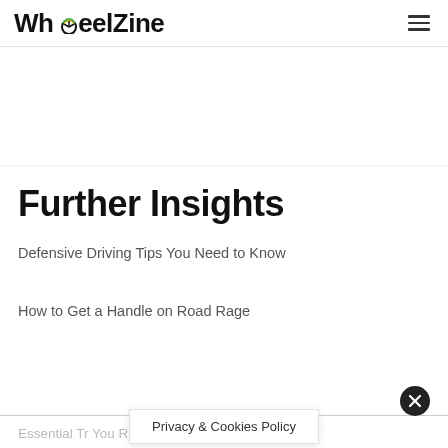WheelZine
Further Insights
Defensive Driving Tips You Need to Know
How to Get a Handle on Road Rage
Essential T... r You Rarely Use
Privacy & Cookies Policy